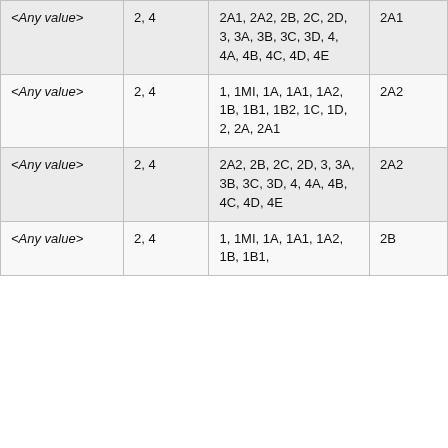| <Any value> | 2,  4 | 2A1, 2A2, 2B, 2C, 2D, 3, 3A, 3B, 3C, 3D, 4, 4A, 4B, 4C, 4D, 4E | 2A1 |
| <Any value> | 2,  4 | 1, 1MI, 1A, 1A1, 1A2, 1B, 1B1, 1B2, 1C, 1D, 2, 2A, 2A1 | 2A2 |
| <Any value> | 2,  4 | 2A2, 2B, 2C, 2D, 3, 3A, 3B, 3C, 3D, 4, 4A, 4B, 4C, 4D, 4E | 2A2 |
| <Any value> | 2,  4 | 1, 1MI, 1A, 1A1, 1A2, 1B, 1B1, ... | 2B |